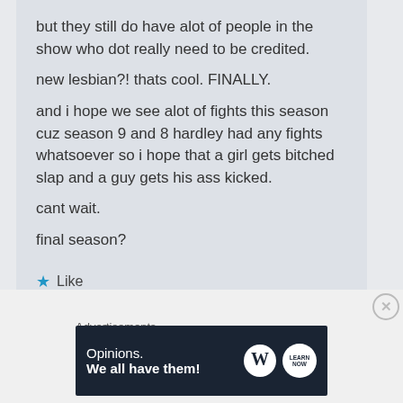but they still do have alot of people in the show who dot really need to be credited.
new lesbian?! thats cool. FINALLY.
and i hope we see alot of fights this season cuz season 9 and 8 hardley had any fights whatsoever so i hope that a girl gets bitched slap and a guy gets his ass kicked.
cant wait.
final season?
Like
Reply
Advertisements
[Figure (other): WordPress advertisement banner: 'Opinions. We all have them!' with WordPress and Learn Now logos on dark navy background]